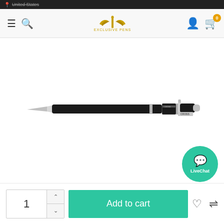United States
[Figure (logo): Exclusive Pens logo with golden wings and pen motif]
[Figure (photo): Cross brand black ballpoint pen with silver tip and chrome accents, shown horizontally against white background]
[Figure (other): LiveChat button - teal circular button with chat icon and LiveChat label]
1
Add to cart